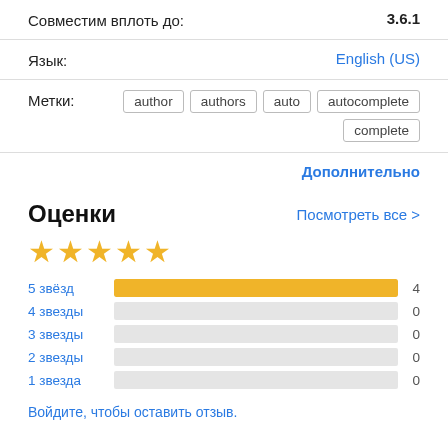Совместим вплоть до: 3.6.1
Язык: English (US)
Метки: author  authors  auto  autocomplete  complete
Дополнительно
Оценки
Посмотреть все >
[Figure (other): 5 gold stars rating]
[Figure (bar-chart): Ratings breakdown]
Войдите, чтобы оставить отзыв.